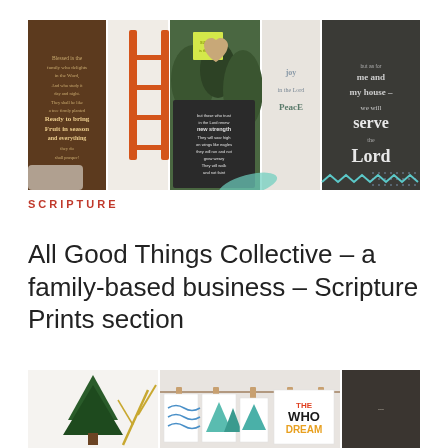[Figure (photo): Collage of scripture print images: brown wood print with Psalm text, ladder/window decor, Bible verse on chalkboard with soaring eagle, joy/peace typography print, chalkboard with 'but as for me and my house we will serve the Lord'. SCRIPTURE label below. Decorative teal brushstroke and geometric pattern overlays.]
SCRIPTURE
All Good Things Collective – a family-based business – Scripture Prints section
[Figure (photo): Bottom collage showing evergreen tree branch, gold painted twigs, art prints hung on a rope with clothespins including wave prints, mountain triangles, and 'WHO DREAM' colorful text print.]